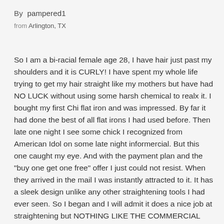By  pampered1
from Arlington, TX
So I am a bi-racial female age 28, I have hair just past my shoulders and it is CURLY! I have spent my whole life trying to get my hair straight like my mothers but have had NO LUCK without using some harsh chemical to realx it. I bought my first Chi flat iron and was impressed. By far it had done the best of all flat irons I had used before. Then late one night I see some chick I recognized from American Idol on some late night informercial. But this one caught my eye. And with the payment plan and the "buy one get one free" offer I just could not resist. When they arrived in the mail I was instantly attracted to it. It has a sleek design unlike any other straightening tools I had ever seen. So I began and I will admit it does a nice job at straightening but NOTHING LIKE THE COMMERCIAL SHOWED! It has something weird going on at the end that keeps getting little hairs stuck in it and ripping them out of my head.